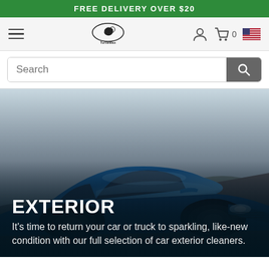FREE DELIVERY OVER $20
[Figure (logo): TurtleWax logo with hamburger menu, cart icon showing 0 items, and US flag icon in navigation bar]
Search
[Figure (photo): Blue Ford Mustang sports car driving on a road with blurred background, hero image for Exterior product category]
EXTERIOR
It's time to return your car or truck to sparkling, like-new condition with our full selection of car exterior cleaners.